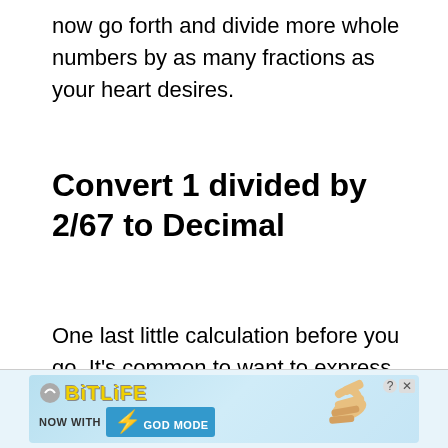now go forth and divide more whole numbers by as many fractions as your heart desires.
Convert 1 divided by 2/67 to Decimal
One last little calculation before you go. It's common to want to express your result as a decimal and, to do that, all you need to do is divide your numerator by your denominator:
[Figure (other): BitLife advertisement banner with 'NOW WITH GOD MODE' text and hand pointing graphic]